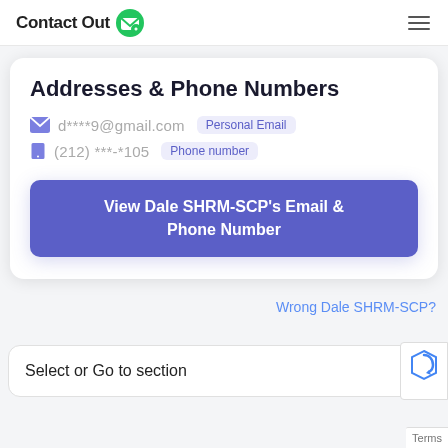ContactOut
Addresses & Phone Numbers
d****9@gmail.com  Personal Email
(212) ***-*105  Phone number
View Dale SHRM-SCP's Email & Phone Number
Wrong Dale SHRM-SCP?
Select or Go to section